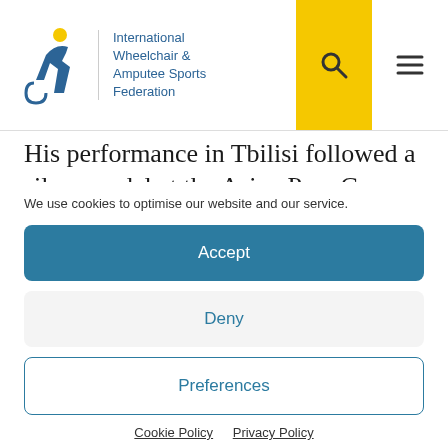International Wheelchair & Amputee Sports Federation
His performance in Tbilisi followed a silver medal at the Asian Para Games, which also doubled as the Asian Championships, in Jakarta, Indonesia, in October.
We use cookies to optimise our website and our service.
Accept
Deny
Preferences
Cookie Policy  Privacy Policy